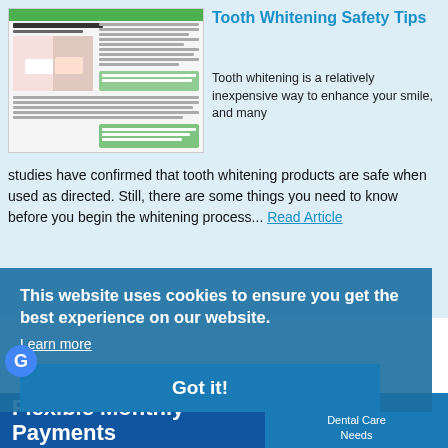[Figure (screenshot): Thumbnail of a dental article page titled 'Tooth Whitening Safety Tips' showing text columns and an image of teeth]
Tooth Whitening Safety Tips
Tooth whitening is a relatively inexpensive way to enhance your smile, and many studies have confirmed that tooth whitening products are safe when used as directed. Still, there are some things you need to know before you begin the whitening process... Read Article
This website uses cookies to ensure you get the best experience on our website.
Learn more
Got it!
Flexible Monthly Payments
For Your Dental Care Needs